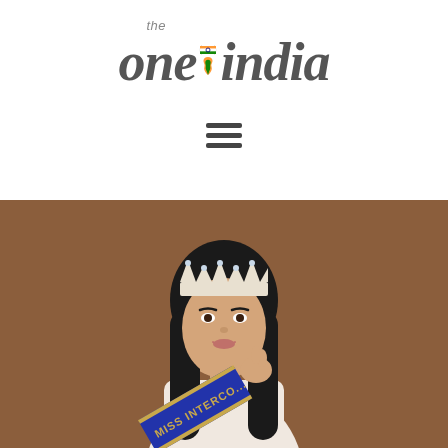[Figure (logo): The One India logo with Indian flag colors and map shape between 'one' and 'india', with hamburger menu icon below]
[Figure (photo): A young woman wearing a pageant crown and blue sash reading 'MISS INTERCO...' in gold letters, dressed in a white outfit, posed against a brown background]